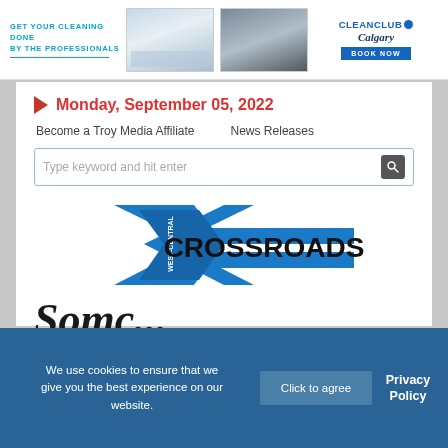[Figure (infographic): Advertisement banner: GET YOUR CLEANING DONE BY THE PROFESSIONALS with room and office photos and CleanClub Calgary BOOK NOW button]
Monday, September 05, 2022
Become a Troy Media Affiliate   News Releases
Type keyword and hit enter
[Figure (logo): West-Central Crossroads logo: blue X shape with WEST-CENTRAL text, and CROSSROADS in bold black on blue horizontal bars]
Somc...
We use cookies to ensure that we give you the best experience on our website.
Click to agree
Privacy Policy